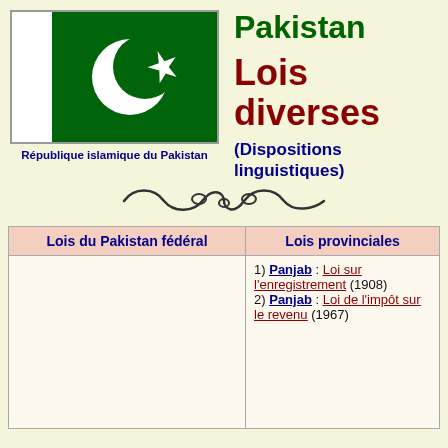[Figure (illustration): Flag of Pakistan — white vertical stripe on left, dark green field with white crescent and star]
République islamique du Pakistan
Pakistan
Lois diverses
(Dispositions linguistiques)
[Figure (illustration): Decorative scroll ornament divider]
| Lois du Pakistan fédéral | Lois provinciales |
| --- | --- |
|  | 1) Panjab : Loi sur l'enregistrement (1908)
2) Panjab : Loi de l'impôt sur le revenu (1967) |